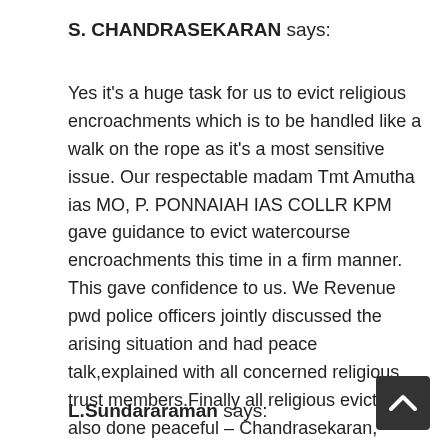S. CHANDRASEKARAN says:
Yes it’s a huge task for us to evict religious encroachments which is to be handled like a walk on the rope as it’s a most sensitive issue. Our respectable madam Tmt Amutha ias MO, P. PONNAIAH IAS COLLR KPM gave guidance to evict watercourse encroachments this time in a firm manner. This gave confidence to us. We Revenue pwd police officers jointly discussed the arising situation and had peace talk,explained with all concerned religious trust members.Finally all religious eviction also done peaceful – Chandrasekaran, Revenue Divisional Officer Tambaram
L.Sundararaman says: